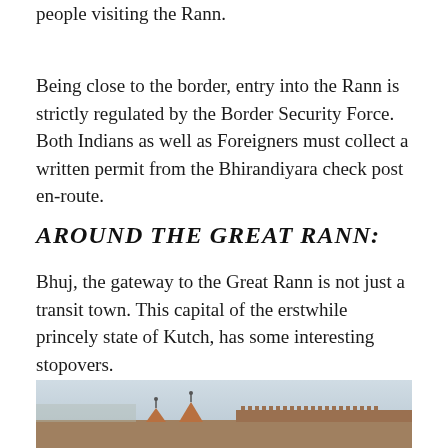…Bharat and Khari, are the most popular pit-stops for people visiting the Rann.
Being close to the border, entry into the Rann is strictly regulated by the Border Security Force. Both Indians as well as Foreigners must collect a written permit from the Bhirandiyara check post en-route.
AROUND THE GREAT RANN:
Bhuj, the gateway to the Great Rann is not just a transit town. This capital of the erstwhile princely state of Kutch, has some interesting stopovers.
[Figure (photo): Photograph of ornate rooftops of a historic building in Bhuj, Kutch, with terracotta tiled conical spires and decorative battlements against a hazy sky, with the city visible in the background.]